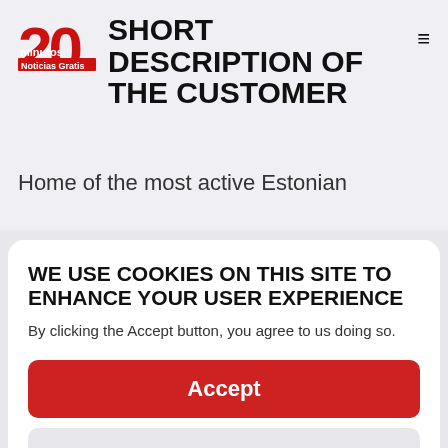[Figure (logo): 20 Minutos red logo overlapping with page header area]
SHORT DESCRIPTION OF THE CUSTOMER
Home of the most active Estonian
WE USE COOKIES ON THIS SITE TO ENHANCE YOUR USER EXPERIENCE
By clicking the Accept button, you agree to us doing so.
Accept
No, thanks